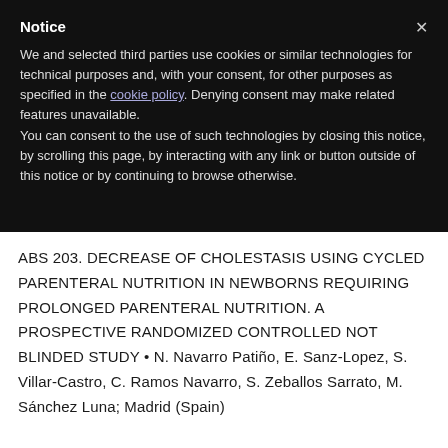Notice
We and selected third parties use cookies or similar technologies for technical purposes and, with your consent, for other purposes as specified in the cookie policy. Denying consent may make related features unavailable.
You can consent to the use of such technologies by closing this notice, by scrolling this page, by interacting with any link or button outside of this notice or by continuing to browse otherwise.
ABS 203. DECREASE OF CHOLESTASIS USING CYCLED PARENTERAL NUTRITION IN NEWBORNS REQUIRING PROLONGED PARENTERAL NUTRITION. A PROSPECTIVE RANDOMIZED CONTROLLED NOT BLINDED STUDY • N. Navarro Patiño, E. Sanz-Lopez, S. Villar-Castro, C. Ramos Navarro, S. Zeballos Sarrato, M. Sánchez Luna; Madrid (Spain)